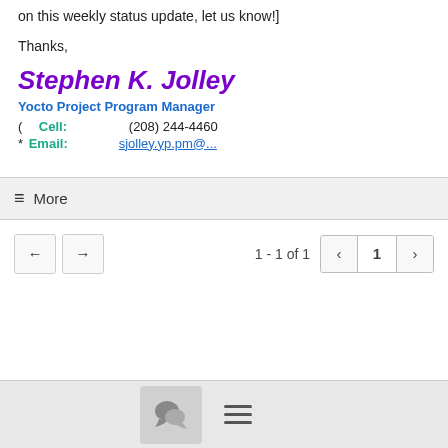on this weekly status update, let us know!]
Thanks,
Stephen K. Jolley
Yocto Project Program Manager
( Cell: (208) 244-4460
* Email: sjolley.yp.pm@...
≡ More
1 - 1 of 1  [navigation controls]